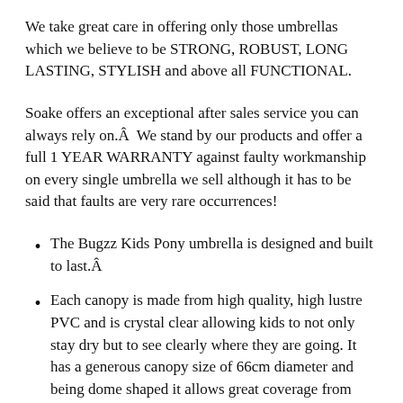We take great care in offering only those umbrellas which we believe to be STRONG, ROBUST, LONG LASTING, STYLISH and above all FUNCTIONAL.
Soake offers an exceptional after sales service you can always rely on.Â  We stand by our products and offer a full 1 YEAR WARRANTY against faulty workmanship on every single umbrella we sell although it has to be said that faults are very rare occurrences!
The Bugzz Kids Pony umbrella is designed and built to last.Â
Each canopy is made from high quality, high lustre PVC and is crystal clear allowing kids to not only stay dry but to see clearly where they are going. It has a generous canopy size of 66cm diameter and being dome shaped it allows great coverage from